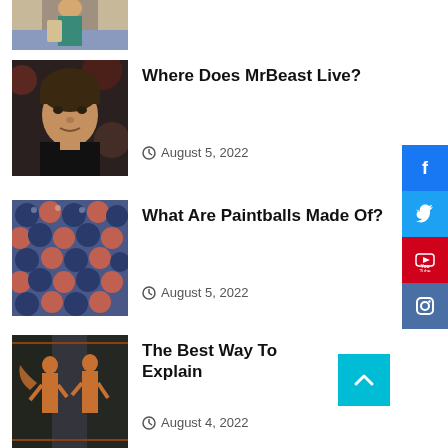[Figure (photo): Partial image at top: person holding folders/documents, cropped]
[Figure (photo): Photo of MrBeast (young man with dark hair wearing black shirt)]
Where Does MrBeast Live?
August 5, 2022
[Figure (photo): Close-up photo of colorful paintballs (blue and pink/copper spheres)]
What Are Paintballs Made Of?
August 5, 2022
[Figure (photo): Ancient Greek pottery illustration with figures]
The Best Way To Explain
August 4, 2022